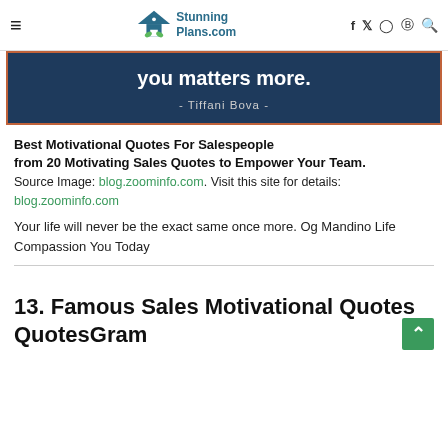StunningPlans.com
[Figure (illustration): Dark blue quote banner with orange border showing quote text 'you matters more.' attributed to - Tiffani Bova -]
Best Motivational Quotes For Salespeople from 20 Motivating Sales Quotes to Empower Your Team.
Source Image: blog.zoominfo.com. Visit this site for details: blog.zoominfo.com
Your life will never be the exact same once more. Og Mandino Life Compassion You Today
13. Famous Sales Motivational Quotes QuotesGram